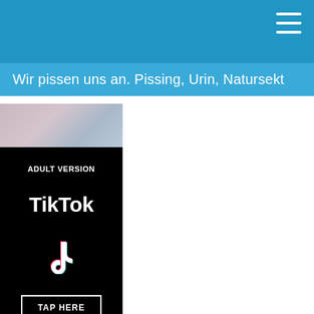Wir pissen uns an. Pissing, Urin, Natursekt
[Figure (photo): Adult content image at top of left column]
[Figure (advertisement): Adult Version TikTok advertisement banner with TikTok logo and TAP HERE button on black background]
Ads by JuicyAds
[Figure (photo): Partial thumbnail image at bottom of left column]